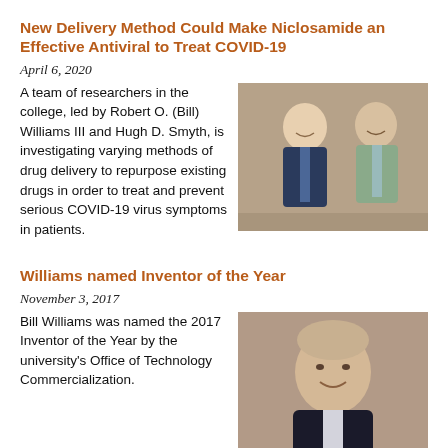New Delivery Method Could Make Niclosamide an Effective Antiviral to Treat COVID-19
April 6, 2020
[Figure (photo): Photo of two men in suits — Robert O. (Bill) Williams III and Hugh D. Smyth]
A team of researchers in the college, led by Robert O. (Bill) Williams III and Hugh D. Smyth, is investigating varying methods of drug delivery to repurpose existing drugs in order to treat and prevent serious COVID-19 virus symptoms in patients.
Williams named Inventor of the Year
November 3, 2017
[Figure (photo): Portrait photo of Bill Williams smiling]
Bill Williams was named the 2017 Inventor of the Year by the university's Office of Technology Commercialization.